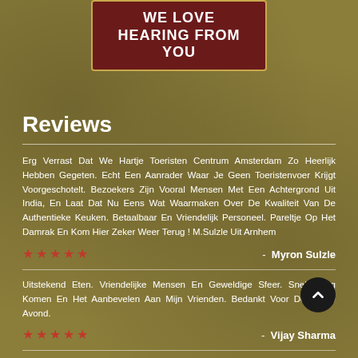WE LOVE HEARING FROM YOU
Reviews
Erg Verrast Dat We Hartje Toeristen Centrum Amsterdam Zo Heerlijk Hebben Gegeten. Echt Een Aanrader Waar Je Geen Toeristenvoer Krijgt Voorgeschotelt. Bezoekers Zijn Vooral Mensen Met Een Achtergrond Uit India, En Laat Dat Nu Eens Wat Waarmaken Over De Kwaliteit Van De Authentieke Keuken. Betaalbaar En Vriendelijk Personeel. Pareltje Op Het Damrak En Kom Hier Zeker Weer Terug ! M.Sulzle Uit Arnhem
- Myron Sulzle
Uitstekend Eten. Vriendelijke Mensen En Geweldige Sfeer. Snel Terug Komen En Het Aanbevelen Aan Mijn Vrienden. Bedankt Voor De Mooie Avond.
- Vijay Sharma